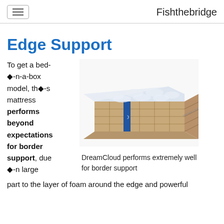Fishthebridge
Edge Support
To get a bed-◆-n-a-box model, th◆-s mattress performs beyond expectations for border support, due ◆-n large part to the layer of foam around the edge and powerful
[Figure (photo): A DreamCloud mattress shown in perspective view with white pillow-top and tan quilted sides with a blue label stripe]
DreamCloud performs extremely well for border support